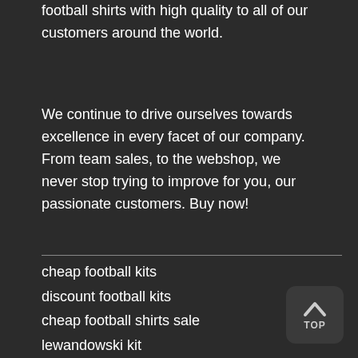proud ourselves on delivering cheap personalised football shirts with high quality to all of our customers around the world.
We continue to drive ourselves towards excellence in every facet of our company. From team sales, to the webshop, we never stop trying to improve for you, our passionate customers. Buy now!
cheap football kits
discount football kits
cheap football shirts sale
lewandowski kit
mbappe kit
mbappe football shirt
haaland shirt